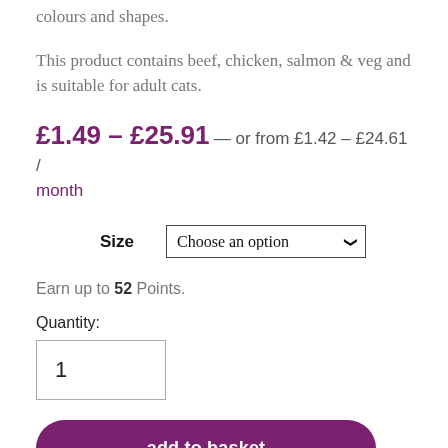colours and shapes.
This product contains beef, chicken, salmon & veg and is suitable for adult cats.
£1.49 – £25.91 — or from £1.42 – £24.61 / month
Size  Choose an option
Earn up to 52 Points.
Quantity:
1
add to basket